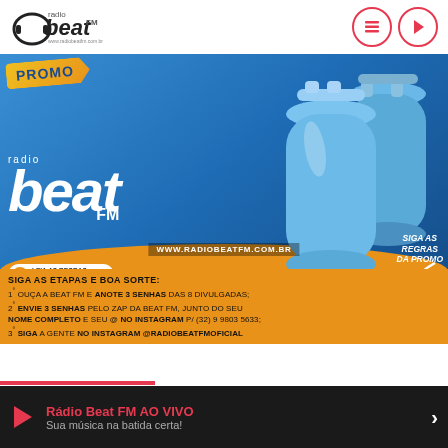Rádio Beat FM — radio beat FM logo with navigation icons
[Figure (photo): Promotional image for Rádio Beat FM contest featuring blue gas cylinders on a blue and orange background. Shows 'PROMO' badge, 'radio beat FM' logo, website www.radiobeatfm.com.br, 'SIGA AS REGRAS DA PROMO' handwritten text, a 'LEIA AS REGRAS E SIGA ATENTAMENTE!' button, and contest instructions at the bottom.]
SIGA AS ETAPAS E BOA SORTE: 1° OUÇA A BEAT FM E ANOTE 3 SENHAS DAS 8 DIVULGADAS; 2° ENVIE 3 SENHAS PELO ZAP DA BEAT FM, JUNTO DO SEU NOME COMPLETO E SEU @ NO INSTAGRAM P/ (32) 9 9803 5633; 3° SIGA A GENTE NO INSTAGRAM @RADIOBEATFMOFICIAL
Rádio Beat FM AO VIVO
Sua música na batida certa!